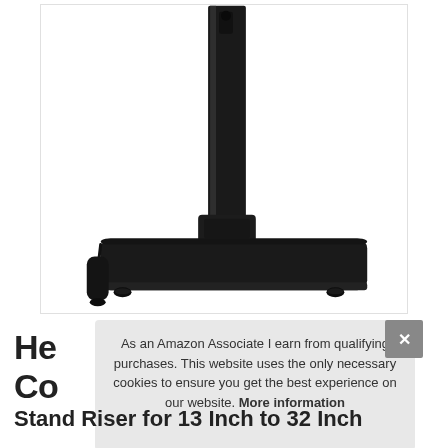[Figure (photo): Black TV stand riser/monitor stand with a vertical pole and a wide rectangular flat base with four rubber feet, photographed on white background]
As an Amazon Associate I earn from qualifying purchases. This website uses the only necessary cookies to ensure you get the best experience on our website. More information
He Co
Stand Riser for 13 Inch to 32 Inch